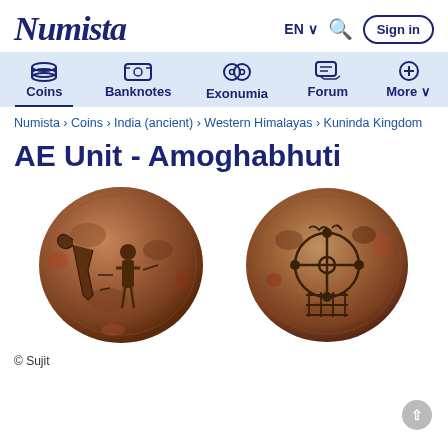Numista — EN | Search | Sign in
Coins | Banknotes | Exonumia | Forum | More
Numista › Coins › India (ancient) › Western Himalayas › Kuninda Kingdom
AE Unit - Amoghabhuti
[Figure (photo): Two ancient bronze AE Unit coins of Amoghabhuti (Kuninda Kingdom). Left coin shows obverse with figure of a deer and standing figure with Brahmi inscription. Right coin shows reverse with a Ujjain symbol and grid pattern.]
© Sujit